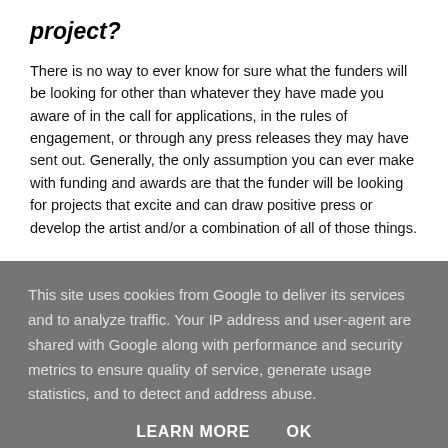project?
There is no way to ever know for sure what the funders will be looking for other than whatever they have made you aware of in the call for applications, in the rules of engagement, or through any press releases they may have sent out. Generally, the only assumption you can ever make with funding and awards are that the funder will be looking for projects that excite and can draw positive press or develop the artist and/or a combination of all of those things.
This site uses cookies from Google to deliver its services and to analyze traffic. Your IP address and user-agent are shared with Google along with performance and security metrics to ensure quality of service, generate usage statistics, and to detect and address abuse.
LEARN MORE   OK